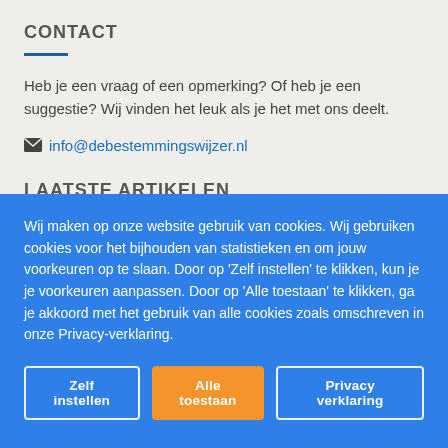CONTACT
Heb je een vraag of een opmerking? Of heb je een suggestie? Wij vinden het leuk als je het met ons deelt.
✉ info@debestemmingswijzer.nl
LAATSTE ARTIKELEN
Wij maken op onze website gebruik van cookies. Wij gebruiken cookies voor het bijhouden van statistieken en om jouw voorkeuren op te slaan. Door op 'Zelf instellen' te klikken, kun je je voorkeuren aanpassen. Door op 'Alle toestaan' te klikken, ga je akkoord met het gebruik van alle cookies zoals omschreven in onze Privacy-verklaring.
Zelf instellen | Alle toestaan | Privacy verklaring